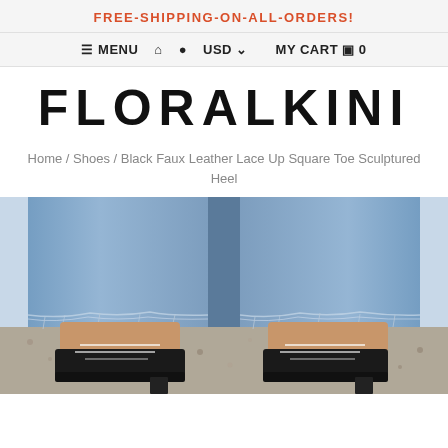FREE-SHIPPING-ON-ALL-ORDERS!
≡ MENU  🏠  👤  USD ∨     MY CART 🛒 0
FLORALKINI
Home / Shoes / Black Faux Leather Lace Up Square Toe Sculptured Heel
[Figure (photo): Close-up photo showing the lower legs of a person wearing distressed light-wash denim jeans and black lace-up sculptured heel shoes, standing on gravel ground.]